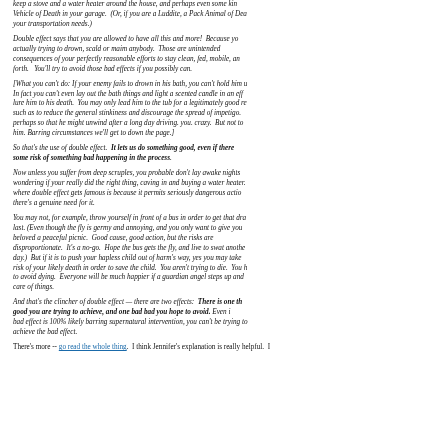keep a stove and a water heater around the house, and perhaps even some kind of Vehicle of Death in your garage. (Or, if you are a Luddite, a Pack Animal of Death for your transportation needs.)
Double effect says that you are allowed to have all this and more! Because you aren't actually trying to drown, scald or maim anybody. Those are unintended consequences of your perfectly reasonable efforts to stay clean, fed, mobile, and so forth. You'll try to avoid those bad effects if you possibly can.
[What you can't do: If your enemy fails to drown in his bath, you can't hold him under. In fact you can't even lay out the bath things and light a scented candle in an effort to lure him to his death. You may only lead him to the tub for a legitimately good reason, such as to reduce the general stinkiness and discourage the spread of impetigo. Or perhaps so that he might unwind after a long day driving. you. crazy. But not to kill him. Barring circumstances we'll get to down the page.]
So that's the use of double effect. It lets us do something good, even if there is some risk of something bad happening in the process.
Now unless you suffer from deep scruples, you probable don't lay awake nights wondering if your really did the right thing, caving in and buying a water heater. Where double effect gets famous is because it permits seriously dangerous actions when there's a genuine need for it.
You may not, for example, throw yourself in front of a bus in order to get that dratted fly last. (Even though the fly is germy and annoying, and you only want to give your beloved a peaceful picnic. Good cause, good action, but the risks are disproportionate. It's a no-go. Hope the bus gets the fly, and live to swat another day.) But if it is to push your hapless child out of harm's way, yes you may take the risk of your likely death in order to save the child. You aren't trying to die. You hope to avoid dying. Everyone will be much happier if a guardian angel steps up and takes care of things.
And that's the clincher of double effect — there are two effects: There is one that is good you are trying to achieve, and one bad bad you hope to avoid. Even if the bad effect is 100% likely barring supernatural intervention, you can't be trying to achieve the bad effect.
There's more -- go read the whole thing. I think Jennifer's explanation is really helpful.